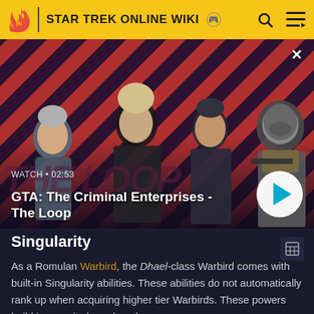STAR TREK ONLINE WIKI
[Figure (screenshot): Video thumbnail for 'GTA: The Criminal Enterprises - The Loop' with striped red and dark background, characters standing, WATCH · 02:53 label, play button]
Singularity
As a Romulan Warbird, the Dhael-class Warbird comes with built-in Singularity abilities. These abilities do not automatically rank up when acquiring higher tier Warbirds. These powers build in severity based on the